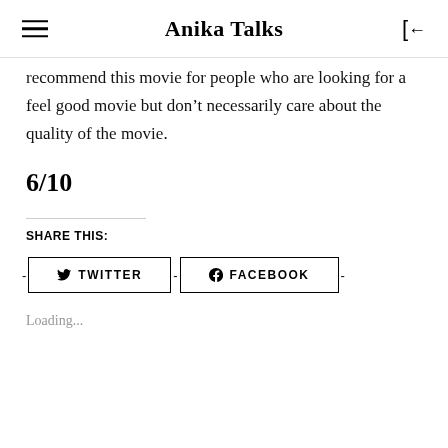Anika Talks
recommend this movie for people who are looking for a feel good movie but don't necessarily care about the quality of the movie.
6/10
SHARE THIS:
TWITTER
FACEBOOK
Loading...